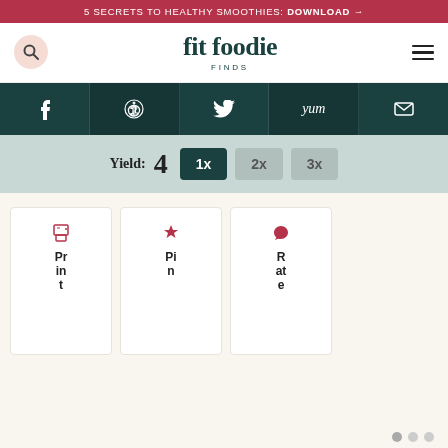5 SECRETS TO HEALTHY SMOOTHIES: DOWNLOAD →
fit foodie FINDS
[Figure (logo): Fit Foodie Finds website logo with search and hamburger menu icons]
[Figure (infographic): Social media sharing bar with Facebook, Pinterest, Twitter, Yum, and Email icons on dark teal background]
Yield: 4   1x  2x  3x
[Figure (infographic): Action cards: Print, Pin, Rate with icons on white card backgrounds]